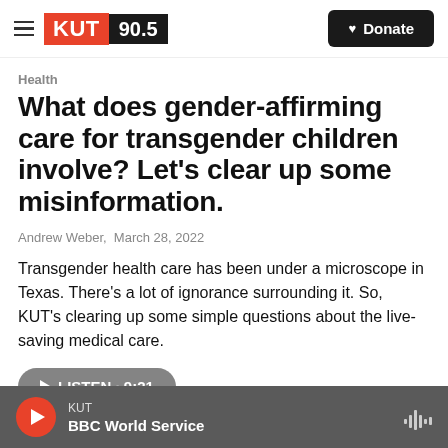[Figure (logo): KUT 90.5 radio station logo with red KUT block and black 90.5 block]
Donate
Health
What does gender-affirming care for transgender children involve? Let's clear up some misinformation.
Andrew Weber,  March 28, 2022
Transgender health care has been under a microscope in Texas. There's a lot of ignorance surrounding it. So, KUT's clearing up some simple questions about the live-saving medical care.
LISTEN · 9:21
KUT BBC World Service